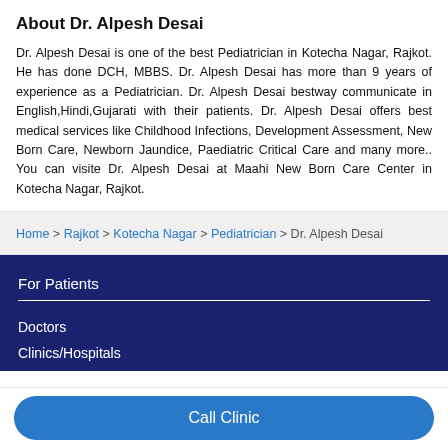About Dr. Alpesh Desai
Dr. Alpesh Desai is one of the best Pediatrician in Kotecha Nagar, Rajkot. He has done DCH, MBBS. Dr. Alpesh Desai has more than 9 years of experience as a Pediatrician. Dr. Alpesh Desai bestway communicate in English,Hindi,Gujarati with their patients. Dr. Alpesh Desai offers best medical services like Childhood Infections, Development Assessment, New Born Care, Newborn Jaundice, Paediatric Critical Care and many more.. You can visite Dr. Alpesh Desai at Maahi New Born Care Center in Kotecha Nagar, Rajkot.
Home > Rajkot > Kotecha Nagar > Pediatrician > Dr. Alpesh Desai
For Patients
Doctors
Clinics/Hospitals
Call Clinic